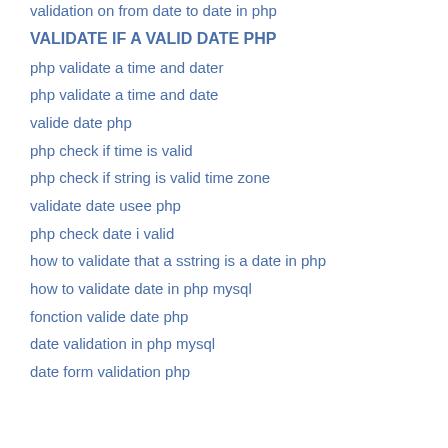validation on from date to date in php
VALIDATE IF A VALID DATE PHP
php validate a time and dater
php validate a time and date
valide date php
php check if time is valid
php check if string is valid time zone
validate date usee php
php check date i valid
how to validate that a sstring is a date in php
how to validate date in php mysql
fonction valide date php
date validation in php mysql
date form validation php